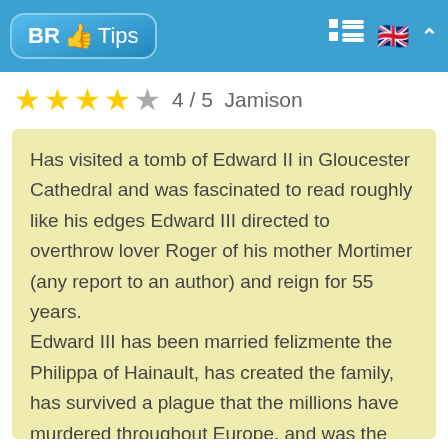BR Tips
4 / 5  Jamison
Has visited a tomb of Edward II in Gloucester Cathedral and was fascinated to read roughly like his edges Edward III directed to overthrow lover Roger of his mother Mortimer (any report to an author) and reign for 55 years. Edward III has been married felizmente the Philippa of Hainault, has created the family, has survived a plague that the millions have murdered throughout Europe, and was the brave and courageous warrior, that directs his men to battle of a front and surrounding he with has trusted of